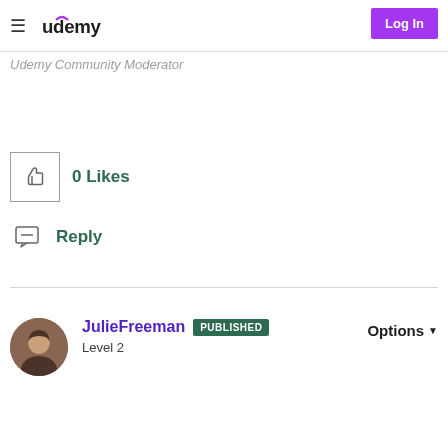Udemy — Log In
Udemy Community Moderator
0 Likes
Reply
JulieFreeman PUBLISHED Level 2 Options